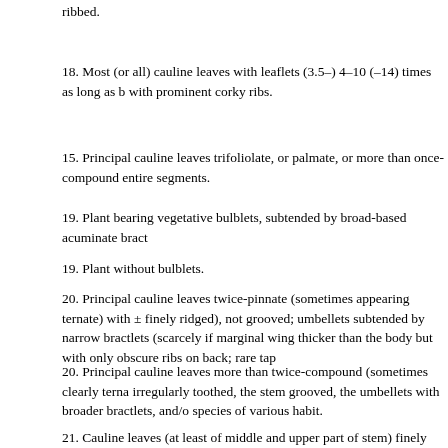ribbed.
18. Most (or all) cauline leaves with leaflets (3.5–) 4–10 (–14) times as long as b with prominent corky ribs.
15. Principal cauline leaves trifoliolate, or palmate, or more than once-compound entire segments.
19. Plant bearing vegetative bulblets, subtended by broad-based acuminate bract
19. Plant without bulblets.
20. Principal cauline leaves twice-pinnate (sometimes appearing ternate) with ± finely ridged), not grooved; umbellets subtended by narrow bractlets (scarcely if marginal wing thicker than the body but with only obscure ribs on back; rare tap
20. Principal cauline leaves more than twice-compound (sometimes clearly terna irregularly toothed, the stem grooved, the umbellets with broader bractlets, and/o species of various habit.
21. Cauline leaves (at least of middle and upper part of stem) finely divided, the